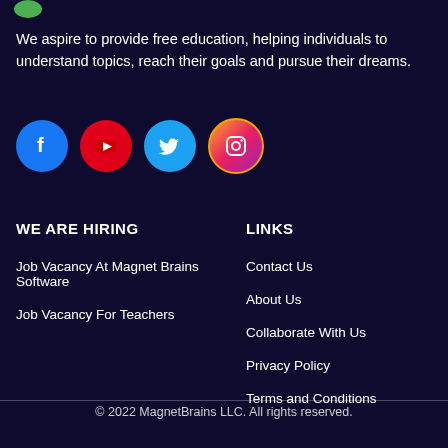[Figure (logo): Green logo mark at top left, partially visible]
We aspire to provide free education, helping individuals to understand topics, reach their goals and pursue their dreams.
[Figure (illustration): Row of four social media icons: Facebook (blue circle), YouTube (red circle), Twitter (light blue circle), Instagram (gradient circle)]
WE ARE HIRING
LINKS
Job Vacancy At Magnet Brains Software
Contact Us
Job Vacancy For Teachers
About Us
Collaborate With Us
Privacy Policy
Terms and Conditions
© 2022 MagnetBrains LLC. All rights reserved.